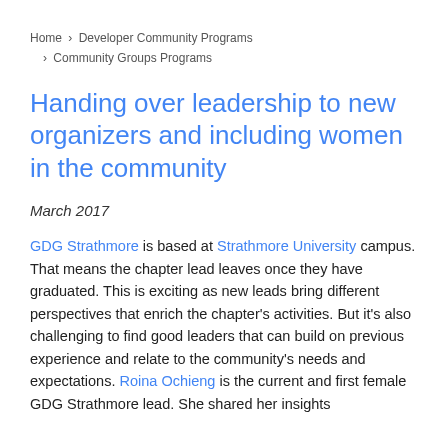Home > Developer Community Programs > Community Groups Programs
Handing over leadership to new organizers and including women in the community
March 2017
GDG Strathmore is based at Strathmore University campus. That means the chapter lead leaves once they have graduated. This is exciting as new leads bring different perspectives that enrich the chapter's activities. But it's also challenging to find good leaders that can build on previous experience and relate to the community's needs and expectations. Roina Ochieng is the current and first female GDG Strathmore lead. She shared her insights